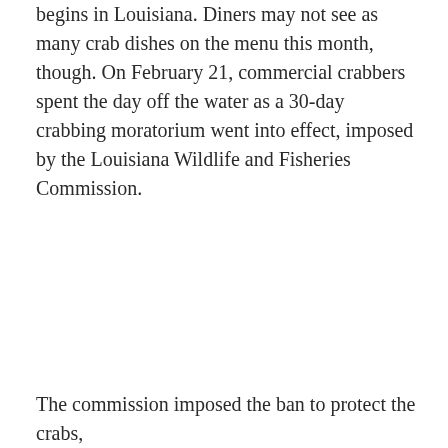begins in Louisiana. Diners may not see as many crab dishes on the menu this month, though. On February 21, commercial crabbers spent the day off the water as a 30-day crabbing moratorium went into effect, imposed by the Louisiana Wildlife and Fisheries Commission.
The commission imposed the ban to protect the crabs,